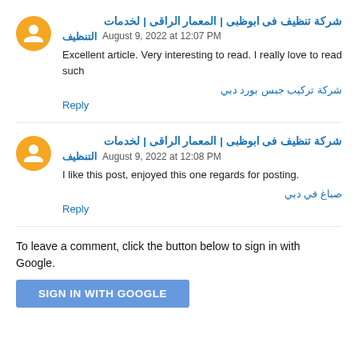شركة تنظيف فى ابوظبى | المعمار الراقى | لخدمات التنظيف  August 9, 2022 at 12:07 PM
Excellent article. Very interesting to read. I really love to read such
شركة تركيب جبس بورد دبي
Reply
شركة تنظيف فى ابوظبى | المعمار الراقى | لخدمات التنظيف  August 9, 2022 at 12:08 PM
I like this post, enjoyed this one regards for posting.
صباغ في دبي
Reply
To leave a comment, click the button below to sign in with Google.
SIGN IN WITH GOOGLE